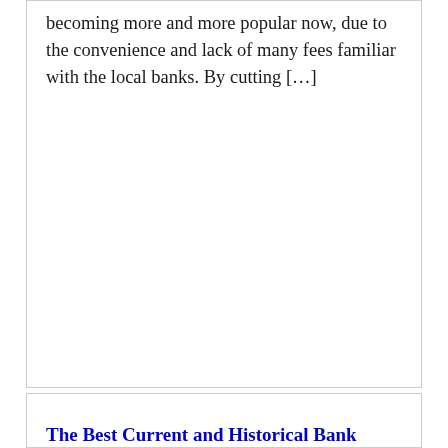becoming more and more popular now, due to the convenience and lack of many fees familiar with the local banks. By cutting […]
The Best Current and Historical Bank